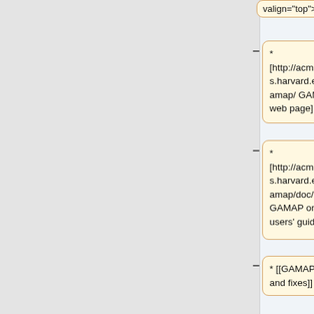valign="top">
* [http://acmg.seas.harvard.edu/gamap/ GAMAP web page]
* [http://acmg.seas.harvard.edu/gamap/doc/ GAMAP on-line users' guide]
* [[GAMAP bugs and fixes]]
* [[GAMAP tips and tricks]]
**[[General GAMAP usage]]
**[[File I/O with